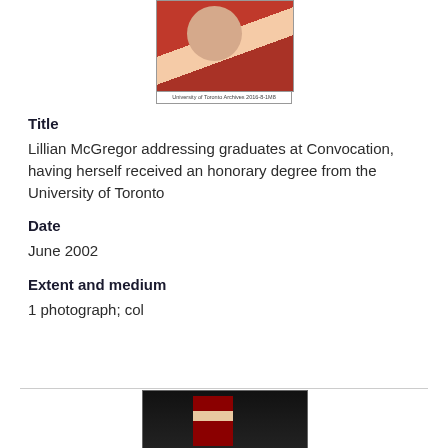[Figure (photo): Portrait photo of Lillian McGregor in convocation robes, red and white academic dress, captioned 'University of Toronto Archives 2016-8-1M8']
Title
Lillian McGregor addressing graduates at Convocation, having herself received an honorary degree from the University of Toronto
Date
June 2002
Extent and medium
1 photograph; col
[Figure (photo): Photo of a person in red and white academic convocation robes standing on a dark stage, raising one hand]